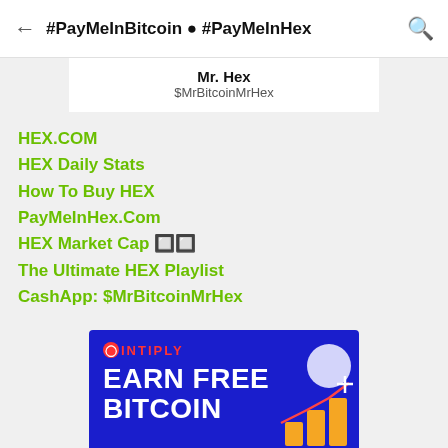#PayMeInBitcoin ● #PayMeInHex
Mr. Hex
$MrBitcoinMrHex
HEX.COM
HEX Daily Stats
How To Buy HEX
PayMeInHex.Com
HEX Market Cap 🔲🔲
The Ultimate HEX Playlist
CashApp: $MrBitcoinMrHex
[Figure (advertisement): Cointiply advertisement banner with blue background showing 'EARN FREE BITCOIN' in bold white text and a graphic illustration on the right side]